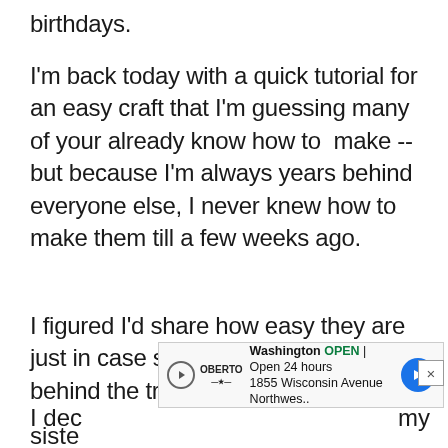birthdays.
I'm back today with a quick tutorial for an easy craft that I'm guessing many of your already know how to  make -- but because I'm always years behind everyone else, I never knew how to make them till a few weeks ago.
I figured I'd share how easy they are just in case some of you are years behind the trends like me. :)
I dec
[Figure (screenshot): Advertisement banner showing OBERTO brand, Washington location, OPEN status, Open 24 hours, 1855 Wisconsin Avenue Northwes., with blue arrow navigation icon and X close button]
my
siste